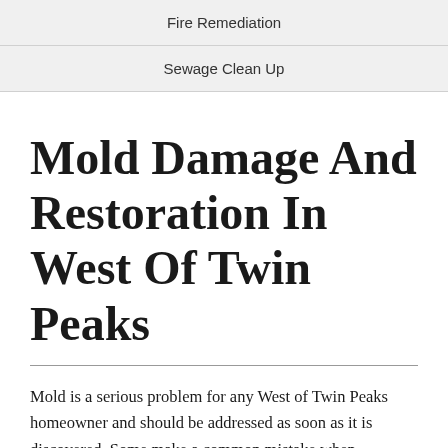Fire Remediation
Sewage Clean Up
Mold Damage And Restoration In West Of Twin Peaks
Mold is a serious problem for any West of Twin Peaks homeowner and should be addressed as soon as it is discovered. Some make a common mistake when